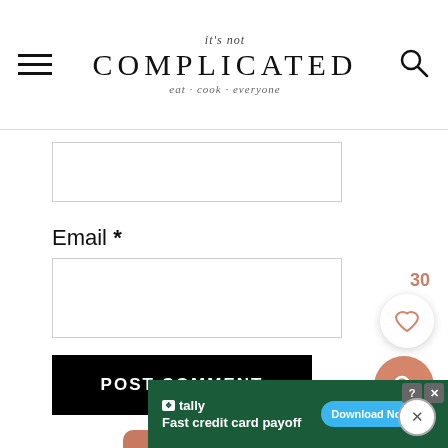It's Not Complicated - eat cook everyone
Email *
[Figure (screenshot): POST COMMENT button — black rectangle with white bold uppercase text]
[Figure (infographic): Three salmon/terracotta rounded square icons: Facebook (f), Instagram (camera), Pinterest (P)]
[Figure (infographic): Floating widgets: count 30, white circle heart button, salmon circle search button]
[Figure (screenshot): Ad banner: Tally app — Fast credit card payoff — Download Now arrow button, dark green background]